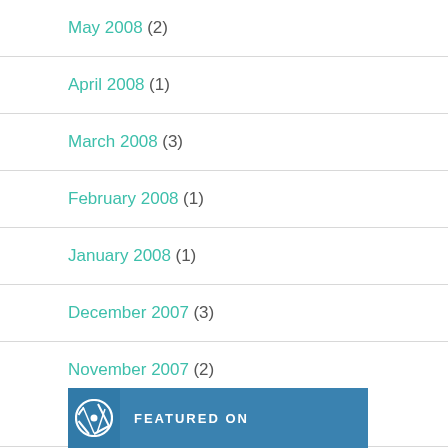May 2008 (2)
April 2008 (1)
March 2008 (3)
February 2008 (1)
January 2008 (1)
December 2007 (3)
November 2007 (2)
[Figure (logo): WordPress Featured On badge - blue banner with WordPress logo and text FEATURED ON]